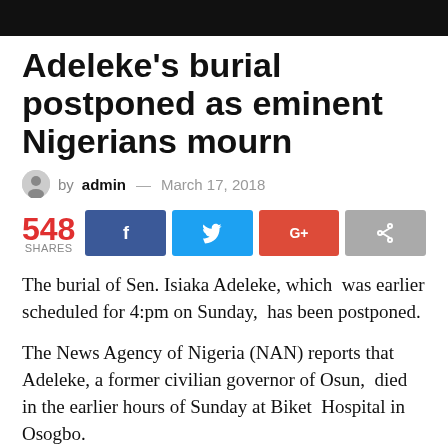Adeleke's burial postponed as eminent Nigerians mourn
by admin — March 17, 2018
548 SHARES
The burial of Sen. Isiaka Adeleke, which was earlier scheduled for 4:pm on Sunday, has been postponed.
The News Agency of Nigeria (NAN) reports that Adeleke, a former civilian governor of Osun, died in the earlier hours of Sunday at Biket Hospital in Osogbo.
Adeleke's corpse, which was brought to his residence in Ede at 1:10 pm in preparation for the Islamic burial rites,